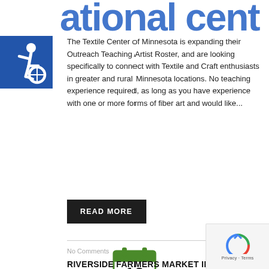ational cent
The Textile Center of Minnesota is expanding their Outreach Teaching Artist Roster, and are looking specifically to connect with Textile and Craft enthusiasts in greater and rural Minnesota locations. No teaching experience required, as long as you have experience with one or more forms of fiber art and would like...
READ MORE
[Figure (other): Calendar icon showing number 13 with OCT label]
No Comments
RIVERSIDE FARMERS MARKET IN